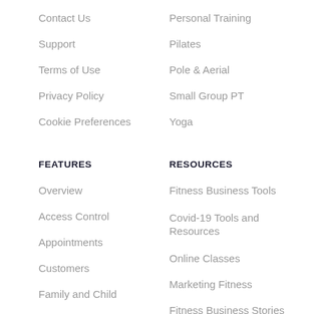Contact Us
Personal Training
Support
Pilates
Terms of Use
Pole & Aerial
Privacy Policy
Small Group PT
Cookie Preferences
Yoga
FEATURES
RESOURCES
Overview
Fitness Business Tools
Access Control
Covid-19 Tools and Resources
Appointments
Online Classes
Customers
Marketing Fitness
Family and Child
Fitness Business Stories
Free Import Service
What's New
Integrations
Case Studies
Members App